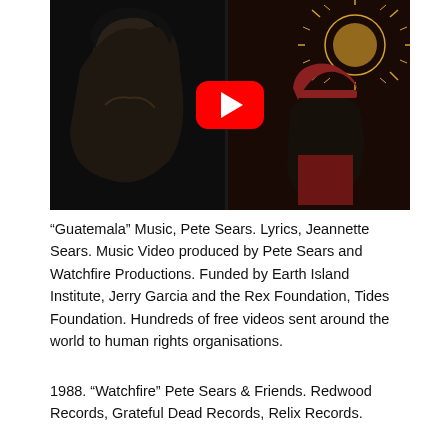[Figure (screenshot): YouTube video thumbnail showing two men in a dark, dramatic scene. A red YouTube play button is visible in the upper center of the image.]
“Guatemala” Music, Pete Sears. Lyrics, Jeannette Sears. Music Video produced by Pete Sears and Watchfire Productions. Funded by Earth Island Institute, Jerry Garcia and the Rex Foundation, Tides Foundation. Hundreds of free videos sent around the world to human rights organisations.
1988. “Watchfire” Pete Sears & Friends. Redwood Records, Grateful Dead Records, Relix Records.